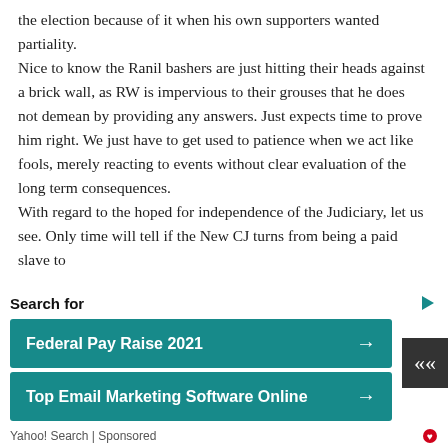the election because of it when his own supporters wanted partiality. Nice to know the Ranil bashers are just hitting their heads against a brick wall, as RW is impervious to their grouses that he does not demean by providing any answers. Just expects time to prove him right. We just have to get used to patience when we act like fools, merely reacting to events without clear evaluation of the long term consequences. With regard to the hoped for independence of the Judiciary, let us see. Only time will tell if the New CJ turns from being a paid slave to
Search for
Federal Pay Raise 2021
Top Email Marketing Software Online
Yahoo! Search | Sponsored